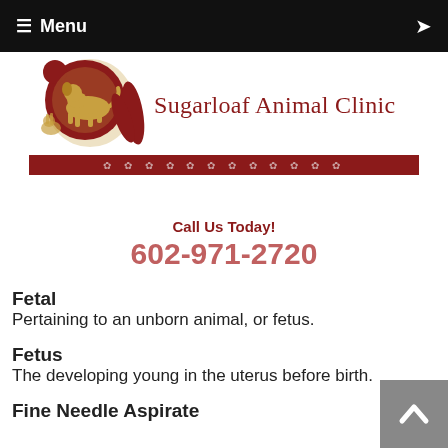≡ Menu
[Figure (logo): Sugarloaf Animal Clinic logo with dog silhouette and decorative circles on dark red background, with red stripe and paw print decorations]
Call Us Today!
602-971-2720
Fetal
Pertaining to an unborn animal, or fetus.
Fetus
The developing young in the uterus before birth.
Fine Needle Aspirate
Suction is applied to a hollow needle which has been inserted into tissue and a core of the tissue is withdrawn to culture and/or examine microscopically.